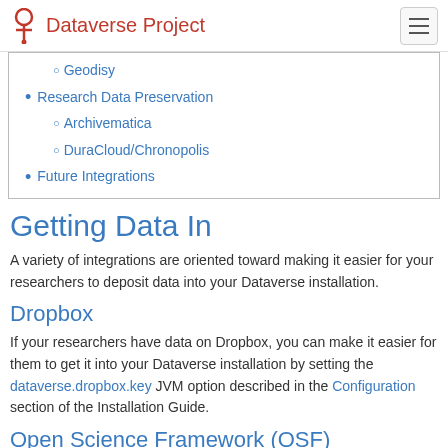Dataverse Project
Geodisy
Research Data Preservation
Archivematica
DuraCloud/Chronopolis
Future Integrations
Getting Data In
A variety of integrations are oriented toward making it easier for your researchers to deposit data into your Dataverse installation.
Dropbox
If your researchers have data on Dropbox, you can make it easier for them to get it into your Dataverse installation by setting the dataverse.dropbox.key JVM option described in the Configuration section of the Installation Guide.
Open Science Framework (OSF)